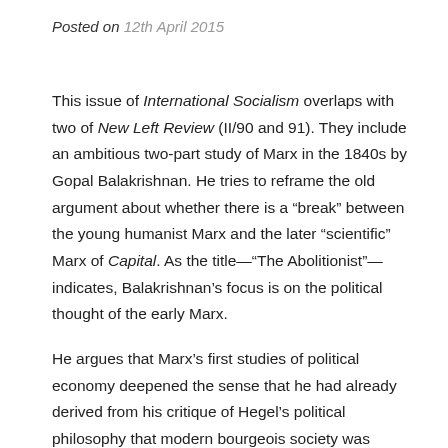Posted on 12th April 2015
This issue of International Socialism overlaps with two of New Left Review (II/90 and 91). They include an ambitious two-part study of Marx in the 1840s by Gopal Balakrishnan. He tries to reframe the old argument about whether there is a “break” between the young humanist Marx and the later “scientific” Marx of Capital. As the title—“The Abolitionist”—indicates, Balakrishnan’s focus is on the political thought of the early Marx.
He argues that Marx’s first studies of political economy deepened the sense that he had already derived from his critique of Hegel’s political philosophy that modern bourgeois society was defined by a profound and alienating separation of state and civil society. He came